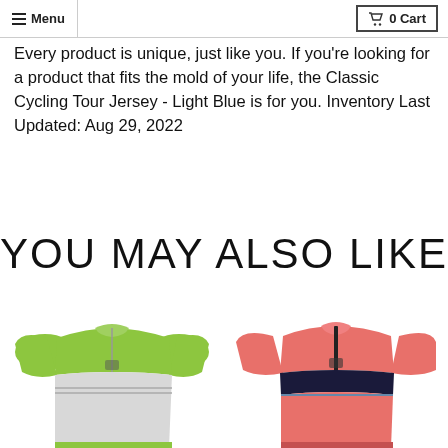Menu | 0 Cart
Every product is unique, just like you. If you're looking for a product that fits the mold of your life, the Classic Cycling Tour Jersey - Light Blue is for you. Inventory Last Updated: Aug 29, 2022
YOU MAY ALSO LIKE
[Figure (photo): Green and white cycling jersey on a mannequin - Classic Cycling Tour Jersey]
[Figure (photo): Pink and dark navy cycling jersey on a mannequin - Classic Cycling Tour Jersey]